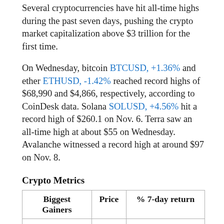Several cryptocurrencies have hit all-time highs during the past seven days, pushing the crypto market capitalization above $3 trillion for the first time.
On Wednesday, bitcoin BTCUSD, +1.36% and ether ETHUSD, -1.42% reached record highs of $68,990 and $4,866, respectively, according to CoinDesk data. Solana SOLUSD, +4.56% hit a record high of $260.1 on Nov. 6. Terra saw an all-time high at about $55 on Wednesday. Avalanche witnessed a record high at around $97 on Nov. 8.
Crypto Metrics
| Biggest Gainers | Price | % 7-day return |
| --- | --- | --- |
| Kadena | $26.3 | 176% |
| Loopring | $3.2 | 174.2% |